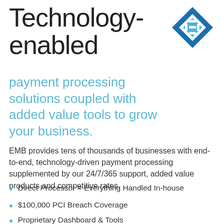Technology-enabled
[Figure (logo): EMB company logo — diamond/square shape in blue tones with a stylized B or grid pattern]
payment processing solutions coupled with added value tools to grow your business.
EMB provides tens of thousands of businesses with end-to-end, technology-driven payment processing supplemented by our 24/7/365 support, added value products and competitive rates.
Direct Processor = Everything Handled In-house
$100,000 PCI Breach Coverage
Proprietary Dashboard & Tools